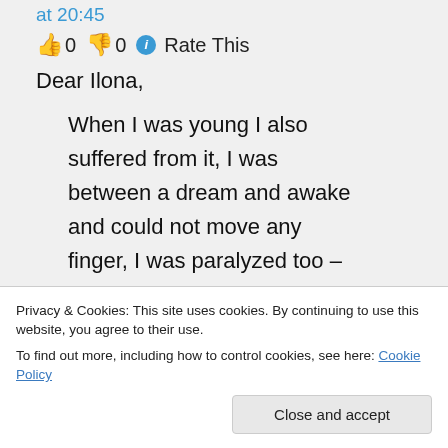at 20:45
👍 0 👎 0 ℹ️ Rate This
Dear Ilona,
When I was young I also suffered from it, I was between a dream and awake and could not move any finger, I was paralyzed too – it was always a very bad condition and my heartbeat
awake sleep condition. Over
Privacy & Cookies: This site uses cookies. By continuing to use this website, you agree to their use.
To find out more, including how to control cookies, see here: Cookie Policy
Close and accept